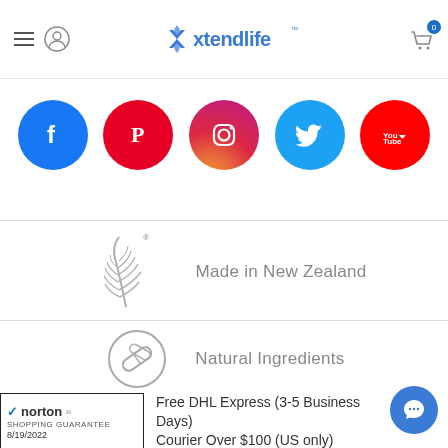[Figure (logo): Xtendlife logo with stylized blue leaf/cross icon and 'xtendlife' text]
[Figure (infographic): Social media icons row: Facebook, Pinterest, Instagram, Twitter, YouTube]
[Figure (infographic): Silver fern icon with 'Made in New Zealand' text]
[Figure (infographic): Capsule/pill icon with 'Natural Ingredients' text]
[Figure (logo): Norton Shopping Guarantee badge dated 8/19/2022]
Free DHL Express (3-5 Business Days) Courier Over $100 (US only)